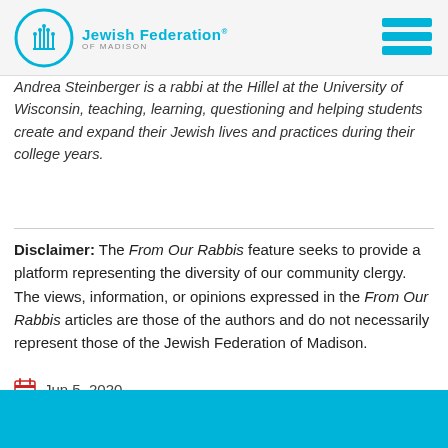Jewish Federation of Madison
Andrea Steinberger is a rabbi at the Hillel at the University of Wisconsin, teaching, learning, questioning and helping students create and expand their Jewish lives and practices during their college years.
Disclaimer: The From Our Rabbis feature seeks to provide a platform representing the diversity of our community clergy. The views, information, or opinions expressed in the From Our Rabbis articles are those of the authors and do not necessarily represent those of the Jewish Federation of Madison.
Jun 5, 2020
[Figure (illustration): Cyan/blue banner at the bottom of the page]